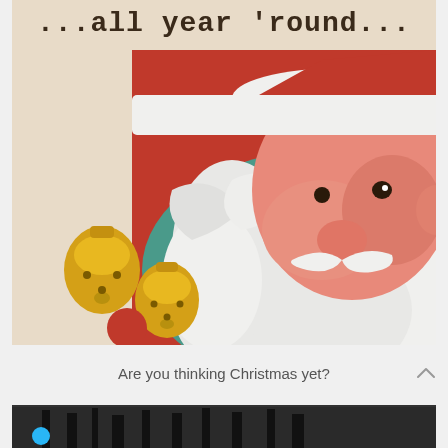[Figure (illustration): Vintage Christmas card illustration showing Santa Claus face in profile with white beard and red suit, with golden jingle bells in the lower left. Text '...all year 'round...' appears at top in typewriter font.]
Are you thinking Christmas yet?
[Figure (photo): Partial bottom image cropped, showing dark silhouettes against a lighter background.]